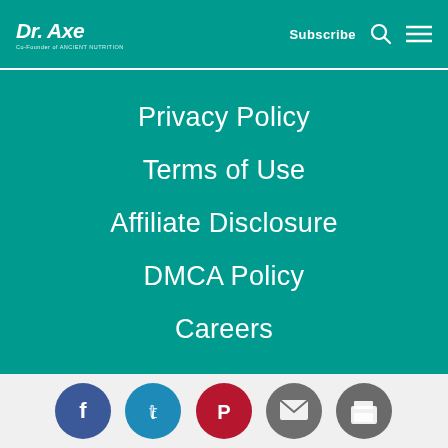Dr. Axe – Co-Founder of Ancient Nutrition | Subscribe | Search | Menu
Privacy Policy
Terms of Use
Affiliate Disclosure
DMCA Policy
Careers
© 2022 Dr. Axe. All Rights Reserved.
[Figure (infographic): Social share icons row: Facebook, Twitter, Pinterest, Email, Print]